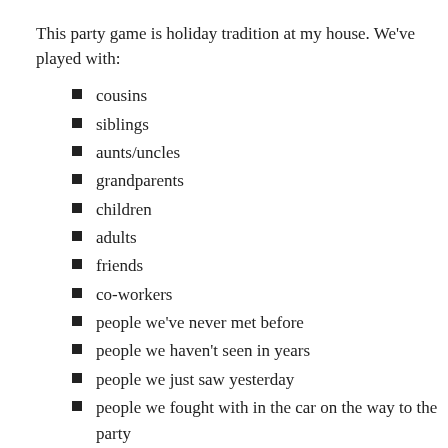This party game is holiday tradition at my house. We've played with:
cousins
siblings
aunts/uncles
grandparents
children
adults
friends
co-workers
people we've never met before
people we haven't seen in years
people we just saw yesterday
people we fought with in the car on the way to the party
people who hate party games
people who love party games